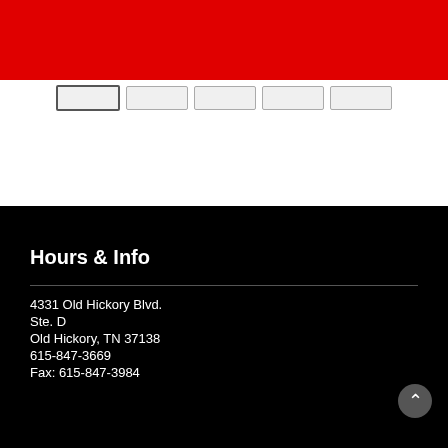[Figure (logo): Martial arts school logo — silhouette of a person performing a kick, with a small text box below on a white background with black border]
Hours & Info
4331 Old Hickory Blvd.
Ste. D
Old Hickory, TN 37138
615-847-3669
Fax: 615-847-3984